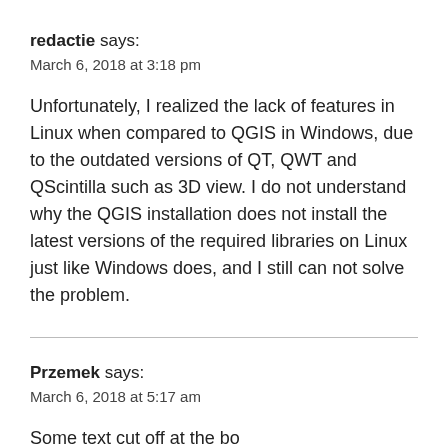redactie says:
March 6, 2018 at 3:18 pm
Unfortunately, I realized the lack of features in Linux when compared to QGIS in Windows, due to the outdated versions of QT, QWT and QScintilla such as 3D view. I do not understand why the QGIS installation does not install the latest versions of the required libraries on Linux just like Windows does, and I still can not solve the problem.
Przemek says:
March 6, 2018 at 5:17 am
Some text cut off at the bottom of the page.